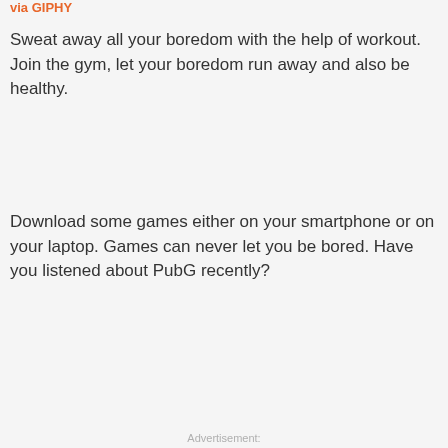via GIPHY
Sweat away all your boredom with the help of workout. Join the gym, let your boredom run away and also be healthy.
Download some games either on your smartphone or on your laptop. Games can never let you be bored. Have you listened about PubG recently?
Advertisement: